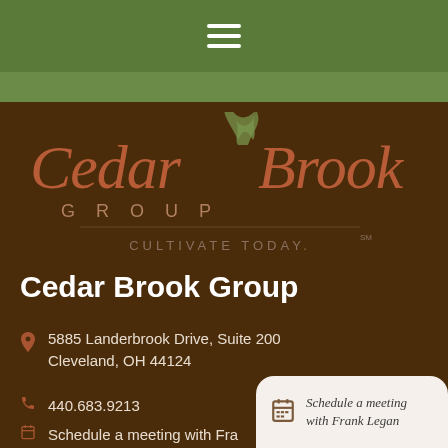Navigation bar with hamburger menu
[Figure (logo): Cedar Brook Group logo with script lettering, leaf emblem, GROUP subtitle, and CULTIVATE TODAY. tagline on dark brown background]
Cedar Brook Group
5885 Landerbrook Drive, Suite 200
Cleveland, OH 44124
440.683.9213
Schedule a meeting with Frank Legan
Schedule a meeting with Frank Legan